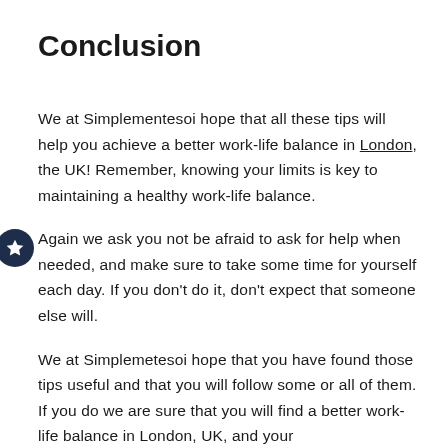Conclusion
We at Simplementesoi hope that all these tips will help you achieve a better work-life balance in London, the UK! Remember, knowing your limits is key to maintaining a healthy work-life balance.
Again we ask you not be afraid to ask for help when needed, and make sure to take some time for yourself each day. If you don't do it, don't expect that someone else will.
We at Simplemetesoi hope that you have found those tips useful and that you will follow some or all of them. If you do we are sure that you will find a better work-life balance in London, UK, and your